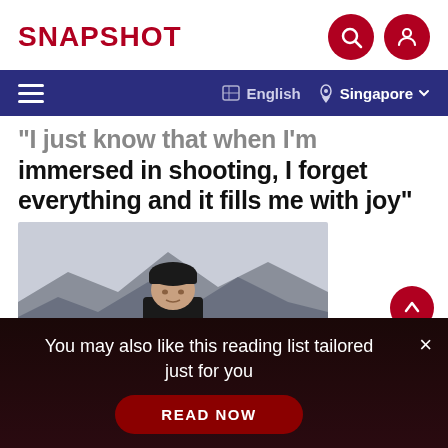SNAPSHOT
English  Singapore
"I just know that when I'm immersed in shooting, I forget everything and it fills me with joy"
[Figure (photo): Person wearing black beanie hat standing in front of mountains with overcast sky]
You may also like this reading list tailored just for you
READ NOW